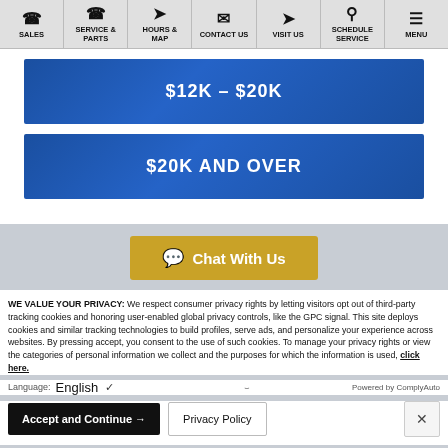SALES | SERVICE & PARTS | HOURS & MAP | CONTACT US | VISIT US | SCHEDULE SERVICE | MENU
$12K – $20K
$20K AND OVER
Chat With Us
WE VALUE YOUR PRIVACY: We respect consumer privacy rights by letting visitors opt out of third-party tracking cookies and honoring user-enabled global privacy controls, like the GPC signal. This site deploys cookies and similar tracking technologies to build profiles, serve ads, and personalize your experience across websites. By pressing accept, you consent to the use of such cookies. To manage your privacy rights or view the categories of personal information we collect and the purposes for which the information is used, click here.
Language: English   ∨   Powered by ComplyAuto
Accept and Continue → | Privacy Policy | ✕